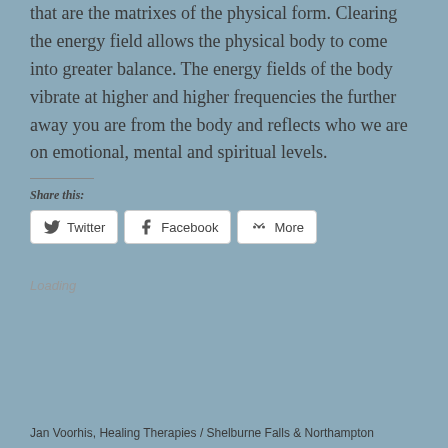that are the matrixes of the physical form. Clearing the energy field allows the physical body to come into greater balance. The energy fields of the body vibrate at higher and higher frequencies the further away you are from the body and reflects who we are on emotional, mental and spiritual levels.
Share this:
Twitter
Facebook
More
Loading
Jan Voorhis, Healing Therapies / Shelburne Falls & Northampton